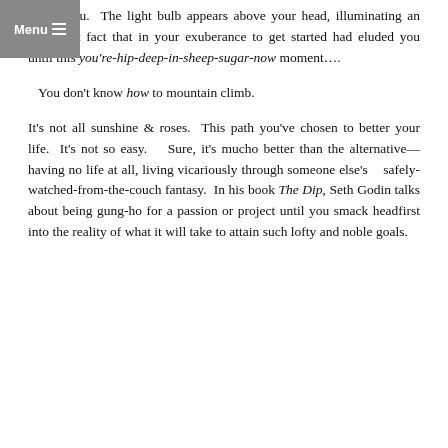Menu
it hits you.  The light bulb appears above your head, illuminating an important fact that in your exuberance to get started had eluded you until this you're-hip-deep-in-sheep-sugar-now moment….
You don't know how to mountain climb.
It's not all sunshine & roses.  This path you've chosen to better your life.  It's not so easy.    Sure, it's mucho better than the alternative—having no life at all, living vicariously through someone else's    safely-watched-from-the-couch fantasy.  In his book The Dip, Seth Godin talks about being gung-ho for a passion or project until you smack headfirst into the reality of what it will take to attain such lofty and noble goals.